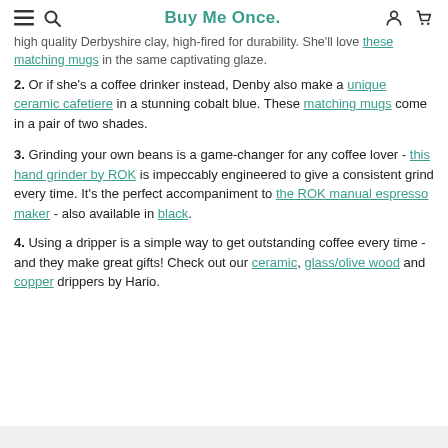Buy Me Once.
high quality Derbyshire clay, high-fired for durability. She'll love these matching mugs in the same captivating glaze.
2. Or if she's a coffee drinker instead, Denby also make a unique ceramic cafetiere in a stunning cobalt blue. These matching mugs come in a pair of two shades.
3. Grinding your own beans is a game-changer for any coffee lover - this hand grinder by ROK is impeccably engineered to give a consistent grind every time. It's the perfect accompaniment to the ROK manual espresso maker - also available in black.
4. Using a dripper is a simple way to get outstanding coffee every time - and they make great gifts! Check out our ceramic, glass/olive wood and copper drippers by Hario.